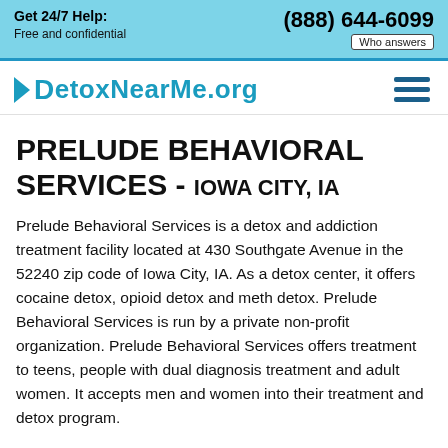Get 24/7 Help: Free and confidential | (888) 644-6099 | Who answers
DetoxNearMe.org
PRELUDE BEHAVIORAL SERVICES - IOWA CITY, IA
Prelude Behavioral Services is a detox and addiction treatment facility located at 430 Southgate Avenue in the 52240 zip code of Iowa City, IA. As a detox center, it offers cocaine detox, opioid detox and meth detox. Prelude Behavioral Services is run by a private non-profit organization. Prelude Behavioral Services offers treatment to teens, people with dual diagnosis treatment and adult women. It accepts men and women into their treatment and detox program.